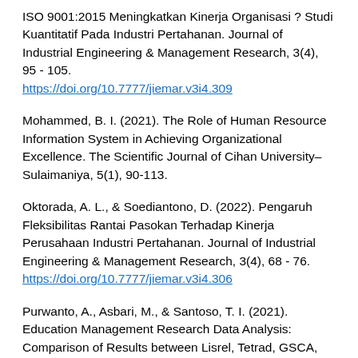ISO 9001:2015 Meningkatkan Kinerja Organisasi ? Studi Kuantitatif Pada Industri Pertahanan. Journal of Industrial Engineering & Management Research, 3(4), 95 - 105. https://doi.org/10.7777/jiemar.v3i4.309
Mohammed, B. I. (2021). The Role of Human Resource Information System in Achieving Organizational Excellence. The Scientific Journal of Cihan University–Sulaimaniya, 5(1), 90-113.
Oktorada, A. L., & Soediantono, D. (2022). Pengaruh Fleksibilitas Rantai Pasokan Terhadap Kinerja Perusahaan Industri Pertahanan. Journal of Industrial Engineering & Management Research, 3(4), 68 - 76. https://doi.org/10.7777/jiemar.v3i4.306
Purwanto, A., Asbari, M., & Santoso, T. I. (2021). Education Management Research Data Analysis: Comparison of Results between Lisrel, Tetrad, GSCA, Amos, SmartPLS, WarpPLS, and SPSS For Small Samples. Nidhomul Haq: Jurnal Manajemen Pendidikan Islam.